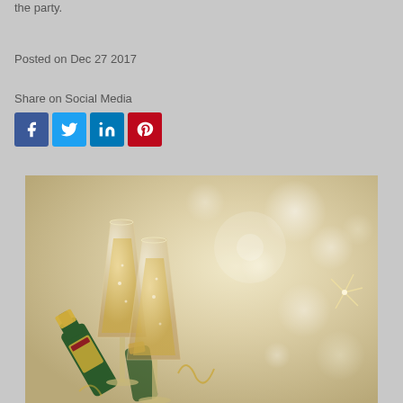the party.
Posted on Dec 27 2017
Share on Social Media
[Figure (infographic): Social media share buttons: Facebook (blue), Twitter (light blue), LinkedIn (dark blue), Pinterest (red)]
[Figure (photo): Two champagne flutes filled with sparkling wine, a champagne bottle on its side, festive bokeh background with gold and silver tones suggesting a New Year celebration]